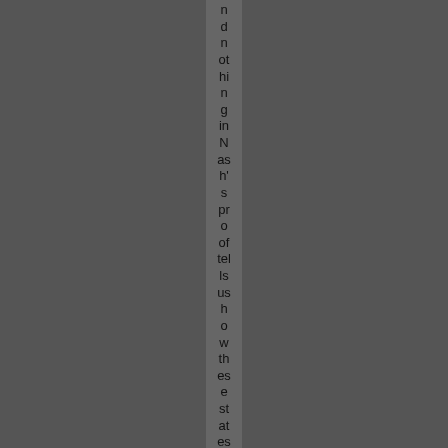nd
n
othing
in
Nash's
proof
tells
us
how
these
states
of
en